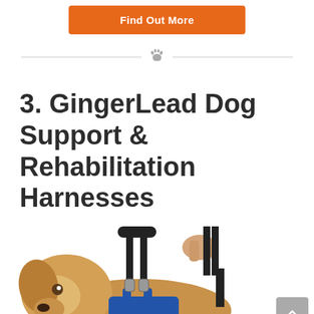Find Out More
[Figure (illustration): Decorative paw print icon centered between two horizontal divider lines]
3. GingerLead Dog Support & Rehabilitation Harnesses
[Figure (photo): A golden retriever dog wearing a blue GingerLead rehabilitation harness, with a person's hand holding a harness handle above the dog's back]